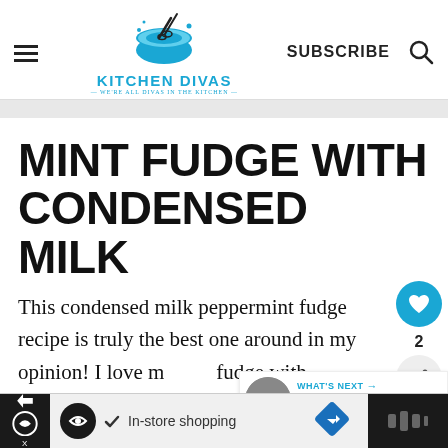Kitchen Divas — WE'RE ALL DIVAS IN THE KITCHEN — | SUBSCRIBE
MINT FUDGE WITH CONDENSED MILK
This condensed milk peppermint fudge recipe is truly the best one around in my opinion! I love making fudge with condensed milk. Not only is
[Figure (other): What's Next panel showing Chocolate Mint Cupcakes]
[Figure (other): Advertisement bar with In-store shopping text and navigation icons]